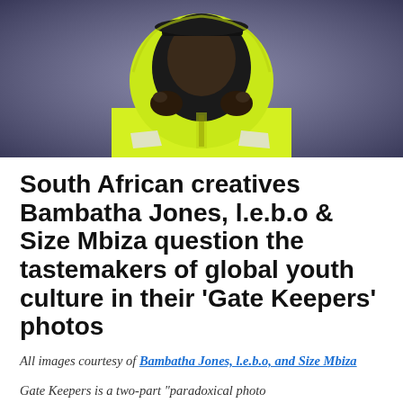[Figure (photo): A person wearing a bright yellow high-visibility hoodie and a dark cap, pulling the hood up around their face, with a dark blurred background.]
South African creatives Bambatha Jones, l.e.b.o & Size Mbiza question the tastemakers of global youth culture in their 'Gate Keepers' photos
All images courtesy of Bambatha Jones, l.e.b.o, and Size Mbiza
Gate Keepers is a two-part "paradoxical photo